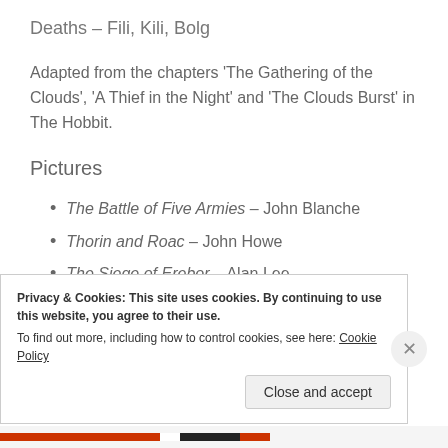Deaths – Fili, Kili, Bolg
Adapted from the chapters ‘The Gathering of the Clouds’, ‘A Thief in the Night’ and ‘The Clouds Burst’ in The Hobbit.
Pictures
The Battle of Five Armies – John Blanche
Thorin and Roac – John Howe
The Siege of Erebor – Alan Lee
The Arkenstone – Ulla Thynel
Privacy & Cookies: This site uses cookies. By continuing to use this website, you agree to their use.
To find out more, including how to control cookies, see here: Cookie Policy
Close and accept